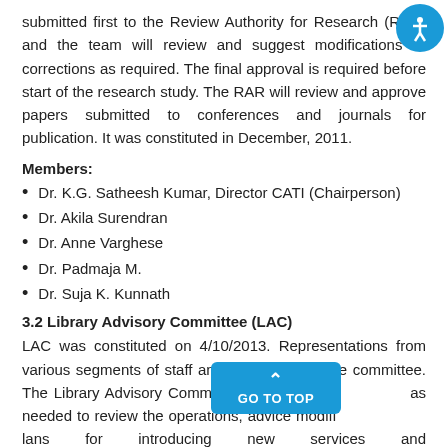submitted first to the Review Authority for Research (RAR) and the team will review and suggest modifications or corrections as required. The final approval is required before start of the research study. The RAR will review and approve papers submitted to conferences and journals for publication. It was constituted in December, 2011.
Members:
Dr. K.G. Satheesh Kumar, Director CATI (Chairperson)
Dr. Akila Surendran
Dr. Anne Varghese
Dr. Padmaja M.
Dr. Suja K. Kunnath
3.2 Library Advisory Committee (LAC)
LAC was constituted on 4/10/2013. Representations from various segments of staff and students form the committee. The Library Advisory Committee meets as needed to review the operations, advice modifications and plans for introducing new services and technologies as appropriate. The MOM of the LAC is